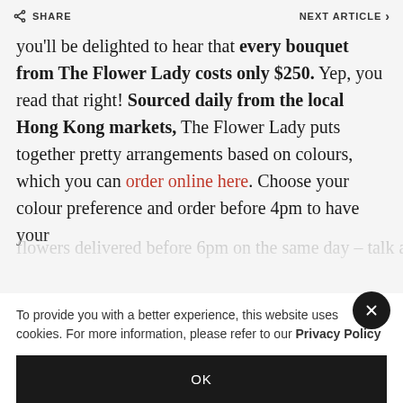SHARE | NEXT ARTICLE
you'll be delighted to hear that every bouquet from The Flower Lady costs only $250. Yep, you read that right! Sourced daily from the local Hong Kong markets, The Flower Lady puts together pretty arrangements based on colours, which you can order online here. Choose your colour preference and order before 4pm to have your flowers delivered before 6pm on the same day – talk ab
To provide you with a better experience, this website uses cookies. For more information, please refer to our Privacy Policy
OK